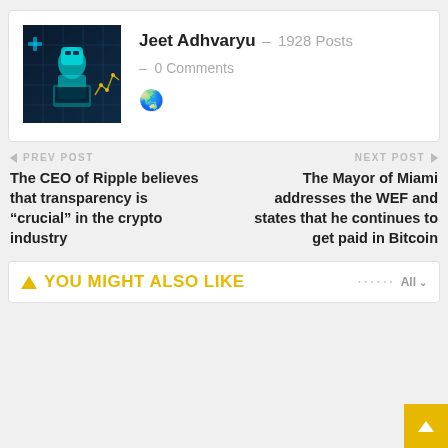[Figure (photo): Author avatar photo showing a digital robot/AI figure with tech symbols]
Jeet Adhvaryu - 1928 Posts - 0 Comments
← PREV POST
The CEO of Ripple believes that transparency is "crucial" in the crypto industry
NEXT POST →
The Mayor of Miami addresses the WEF and states that he continues to get paid in Bitcoin
▲ YOU MIGHT ALSO LIKE